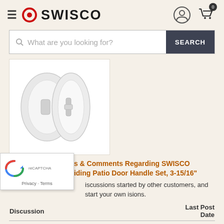SWISCO
[Figure (screenshot): SWISCO website header with hamburger menu, red circle logo, SWISCO text, user account icon, and shopping cart icon with badge showing 0]
[Figure (screenshot): Search bar with placeholder text 'What are you looking for?' and a dark SEARCH button]
[Figure (photo): Product photo of a white Sliding Patio Door Handle Set showing two handle pieces]
Customer Questions & Comments Regarding SWISCO Product  82-030 : Sliding Patio Door Handle Set, 3-15/16"
iscussions started by other customers, and start your own isions.
| Discussion | Last Post Date |
| --- | --- |